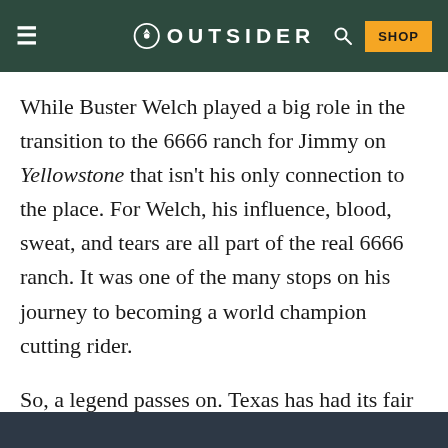OUTSIDER
While Buster Welch played a big role in the transition to the 6666 ranch for Jimmy on Yellowstone that isn't his only connection to the place. For Welch, his influence, blood, sweat, and tears are all part of the real 6666 ranch. It was one of the many stops on his journey to becoming a world champion cutting rider.
So, a legend passes on. Texas has had its fair share of icons and cowboys, but Welch feels like a member of a lost generation. Something